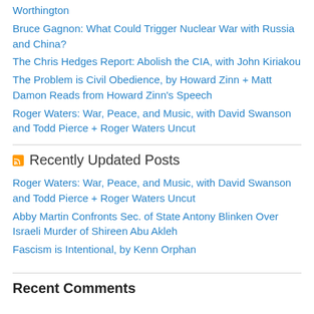Worthington
Bruce Gagnon: What Could Trigger Nuclear War with Russia and China?
The Chris Hedges Report: Abolish the CIA, with John Kiriakou
The Problem is Civil Obedience, by Howard Zinn + Matt Damon Reads from Howard Zinn's Speech
Roger Waters: War, Peace, and Music, with David Swanson and Todd Pierce + Roger Waters Uncut
Recently Updated Posts
Roger Waters: War, Peace, and Music, with David Swanson and Todd Pierce + Roger Waters Uncut
Abby Martin Confronts Sec. of State Antony Blinken Over Israeli Murder of Shireen Abu Akleh
Fascism is Intentional, by Kenn Orphan
Recent Comments